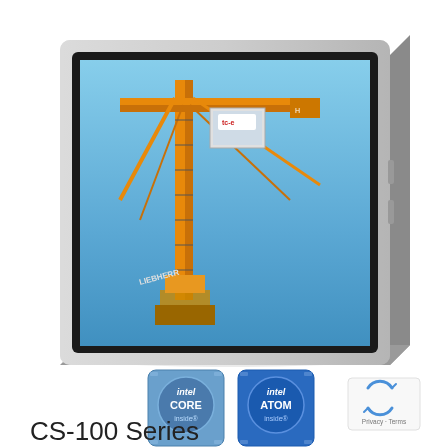[Figure (photo): Industrial panel PC (CS-100 Series) shown in perspective view. Silver/grey metal bezel housing with black front panel. Screen displays a construction crane against blue sky. Two Intel processor badges below: Intel Core inside and Intel Atom inside.]
CS-100 Series